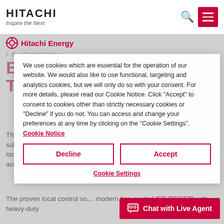HITACHI Inspire the Next
[Figure (logo): Hitachi Energy logo with red circular icon]
Bay Control Solutions
Bay Control for GIS Transmission Substations
We use cookies which are essential for the operation of our website. We would also like to use functional, targeting and analytics cookies, but we will only do so with your consent. For more details, please read our Cookie Notice. Click "Accept" to consent to cookies other than strictly necessary cookies or "Decline" if you do not. You can access and change your preferences at any time by clicking on the "Cookie Settings". Cookie Notice
Decline
Accept
Cookie Settings
The control solution ensures safe and reliable control of GIS substations on transmission levels. It includes all components for the local supervision and control of a complete feeder and provides remote access interfaces.
The proven local control solution is based on the modern bay control IED REC670 with heavy-duty